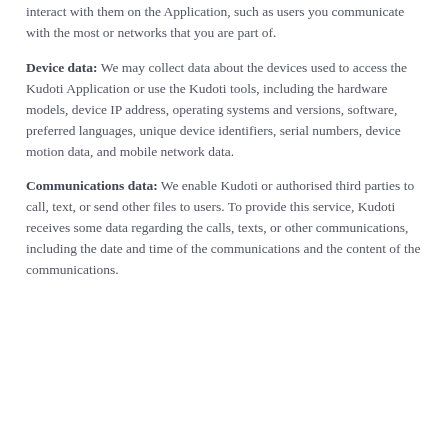interact with them on the Application, such as users you communicate with the most or networks that you are part of.
Device data: We may collect data about the devices used to access the Kudoti Application or use the Kudoti tools, including the hardware models, device IP address, operating systems and versions, software, preferred languages, unique device identifiers, serial numbers, device motion data, and mobile network data.
Communications data: We enable Kudoti or authorised third parties to call, text, or send other files to users. To provide this service, Kudoti receives some data regarding the calls, texts, or other communications, including the date and time of the communications and the content of the communications.